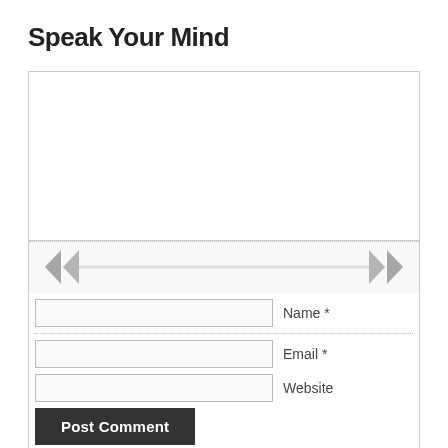Speak Your Mind
[Figure (screenshot): A web comment form with a large textarea, horizontal scrollbar with chevron arrows (left and right), and three input fields for Name, Email, and Website, along with a 'Post Comment' button.]
SEARCH THIS SITE